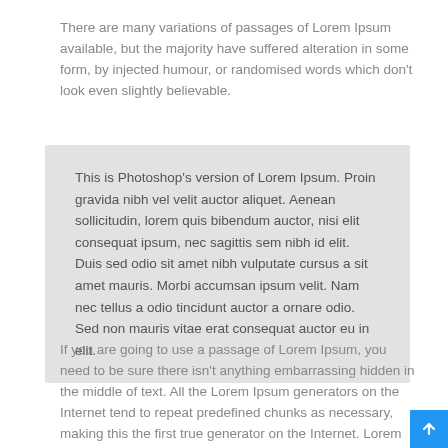There are many variations of passages of Lorem Ipsum available, but the majority have suffered alteration in some form, by injected humour, or randomised words which don’t look even slightly believable.
This is Photoshop’s version of Lorem Ipsum. Proin gravida nibh vel velit auctor aliquet. Aenean sollicitudin, lorem quis bibendum auctor, nisi elit consequat ipsum, nec sagittis sem nibh id elit. Duis sed odio sit amet nibh vulputate cursus a sit amet mauris. Morbi accumsan ipsum velit. Nam nec tellus a odio tincidunt auctor a ornare odio. Sed non mauris vitae erat consequat auctor eu in elit.
If you are going to use a passage of Lorem Ipsum, you need to be sure there isn’t anything embarrassing hidden in the middle of text. All the Lorem Ipsum generators on the Internet tend to repeat predefined chunks as necessary, making this the first true generator on the Internet. Lorem ipsum dolor sit amet.